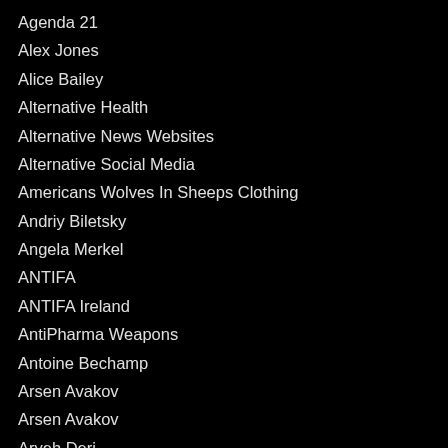Agenda 21
Alex Jones
Alice Bailey
Alternative Health
Alternative News Websites
Alternative Social Media
Americans Wolves In Sheeps Clothing
Andriy Biletsky
Angela Merkel
ANTIFA
ANTIFA Ireland
AntiPharma Weapons
Antoine Bechamp
Arsen Avakov
Arsen Avakov
Aryeh Deri
Aryeh Deri
ASPARTAME
ASPARTAME
Authors
Azov Battalion
Babylonians
Banking Cartel
Banned Videos
Baron Louis de Rothschild